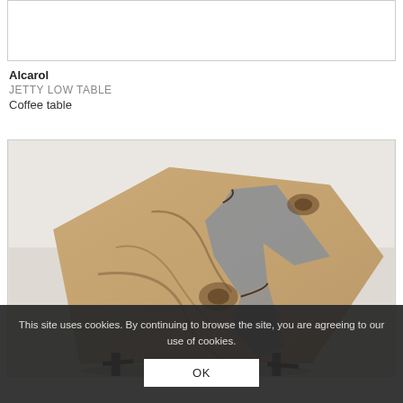[Figure (photo): Empty white image box at the top of the page, partially visible, bordered rectangle]
Alcarol
JETTY LOW TABLE
Coffee table
[Figure (photo): Photograph of a wooden coffee table (Jetty Low Table by Alcarol) with a live-edge walnut top featuring a grey resin river channel insert, supported by black metal legs, shot from above at an angle against a light background.]
This site uses cookies. By continuing to browse the site, you are agreeing to our use of cookies.
OK